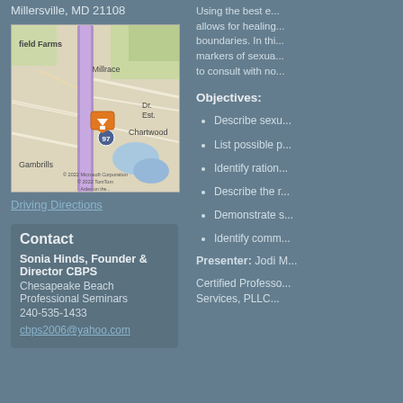Millersville, MD 21108
[Figure (map): Map showing Millersville MD area with roads, neighborhoods (field Farms, Millrace, Chartwood, Gambrills, Dr. Est.), highway 97, and an orange location pin marker. © 2022 Microsoft Corporation © 2022 TomTom]
Driving Directions
Contact
Sonia Hinds, Founder & Director CBPS
Chesapeake Beach Professional Seminars
240-535-1433
cbps2006@yahoo.com
Using the best e... allows for healing... boundaries. In thi... markers of sexua... to consult with no...
Objectives:
Describe sexu...
List possible p...
Identify ration...
Describe the r...
Demonstrate s...
Identify comm...
Presenter: Jodi M...
Certified Professo... Services, PLLC...